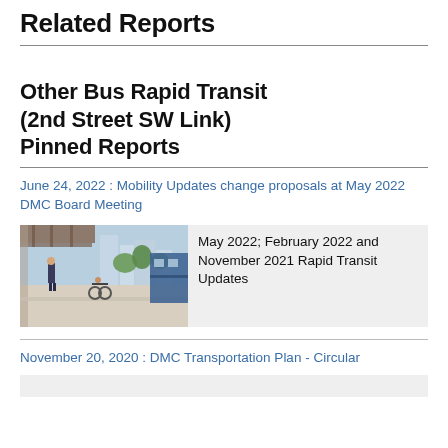Related Reports
Other Bus Rapid Transit (2nd Street SW Link) Pinned Reports
June 24, 2022 : Mobility Updates change proposals at May 2022 DMC Board Meeting
[Figure (photo): Card with photo of a transit station interior showing people walking and a cyclist, with text: May 2022; February 2022 and November 2021 Rapid Transit Updates]
November 20, 2020 : DMC Transportation Plan - Circular